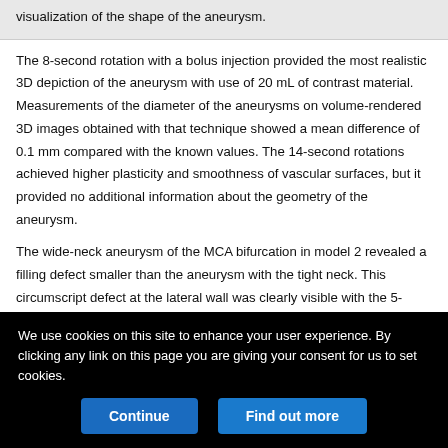visualization of the shape of the aneurysm.
The 8-second rotation with a bolus injection provided the most realistic 3D depiction of the aneurysm with use of 20 mL of contrast material. Measurements of the diameter of the aneurysms on volume-rendered 3D images obtained with that technique showed a mean difference of 0.1 mm compared with the known values. The 14-second rotations achieved higher plasticity and smoothness of vascular surfaces, but it provided no additional information about the geometry of the aneurysm.
The wide-neck aneurysm of the MCA bifurcation in model 2 revealed a filling defect smaller than the aneurysm with the tight neck. This circumscript defect at the lateral wall was clearly visible with the 5-
We use cookies on this site to enhance your user experience. By clicking any link on this page you are giving your consent for us to set cookies.
Continue
Find out more